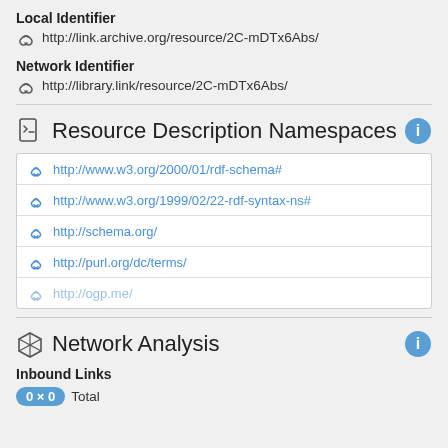Local Identifier
http://link.archive.org/resource/2C-mDTx6Abs/
Network Identifier
http://library.link/resource/2C-mDTx6Abs/
Resource Description Namespaces
http://www.w3.org/2000/01/rdf-schema#
http://www.w3.org/1999/02/22-rdf-syntax-ns#
http://schema.org/
http://purl.org/dc/terms/
http://ogp.me/
Network Analysis
Inbound Links
0 × 0 Total